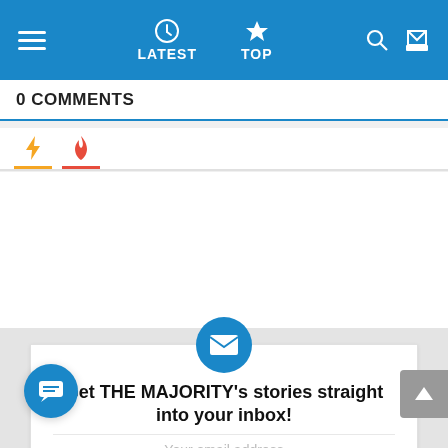LATEST   TOP
0 COMMENTS
[Figure (screenshot): Tab icon row with lightning bolt (yellow) and flame (red) icons with colored underlines]
[Figure (infographic): Email subscription card with circular mail icon, headline 'Get THE MAJORITY's stories straight into your inbox!' and email address input field]
Get THE MAJORITY's stories straight into your inbox!
Your email address